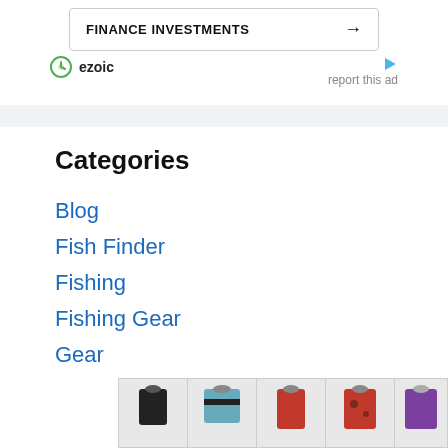[Figure (other): Advertisement banner with text FINANCE INVESTMENTS and right arrow, bordered box]
[Figure (logo): Ezoic logo with circular icon and text 'ezoic', alongside 'report this ad' link with play icon]
Categories
Blog
Fish Finder
Fishing
Fishing Gear
Gear
[Figure (photo): Row of clothing product thumbnails showing women's fashion items in various colors at the bottom of the page]